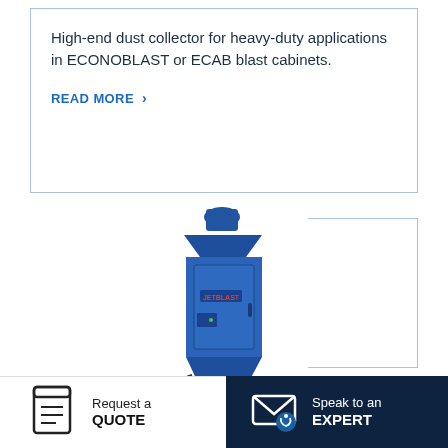High-end dust collector for heavy-duty applications in ECONOBLAST or ECAB blast cabinets.
READ MORE >
[Figure (photo): A tall blue industrial dust collector unit with a funnel top intake, cabinet body with door and control panel, and a tapered hopper base on legs.]
Request a QUOTE
Speak to an EXPERT